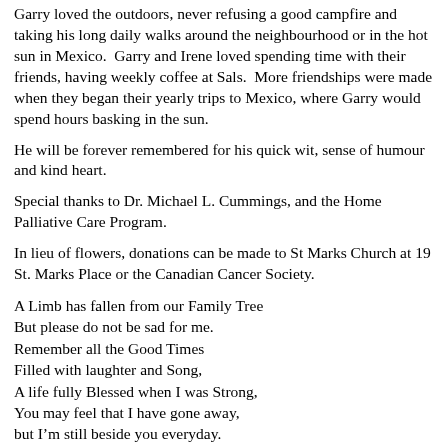Garry loved the outdoors, never refusing a good campfire and taking his long daily walks around the neighbourhood or in the hot sun in Mexico.  Garry and Irene loved spending time with their friends, having weekly coffee at Sals.  More friendships were made when they began their yearly trips to Mexico, where Garry would spend hours basking in the sun.
He will be forever remembered for his quick wit, sense of humour and kind heart.
Special thanks to Dr. Michael L. Cummings, and the Home Palliative Care Program.
In lieu of flowers, donations can be made to St Marks Church at 19 St. Marks Place or the Canadian Cancer Society.
A Limb has fallen from our Family Tree
But please do not be sad for me.
Remember all the Good Times
Filled with laughter and Song,
A life fully Blessed when I was Strong,
You may feel that I have gone away,
but I'm still beside you everyday.
Due to Covid Restrictions, a Funeral service will be held at a later date.